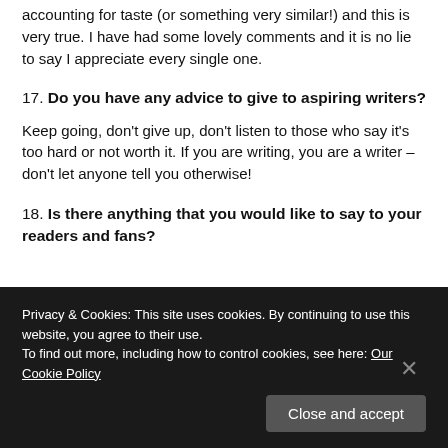accounting for taste (or something very similar!) and this is very true. I have had some lovely comments and it is no lie to say I appreciate every single one.
17. Do you have any advice to give to aspiring writers?
Keep going, don't give up, don't listen to those who say it's too hard or not worth it. If you are writing, you are a writer – don't let anyone tell you otherwise!
18. Is there anything that you would like to say to your readers and fans?
Privacy & Cookies: This site uses cookies. By continuing to use this website, you agree to their use. To find out more, including how to control cookies, see here: Our Cookie Policy